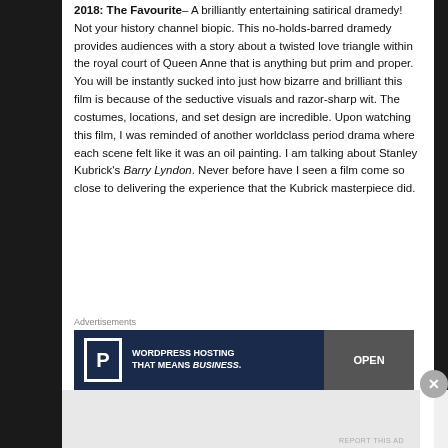2018: The Favourite – A brilliantly entertaining satirical dramedy! Not your history channel biopic. This no-holds-barred dramedy provides audiences with a story about a twisted love triangle within the royal court of Queen Anne that is anything but prim and proper. You will be instantly sucked into just how bizarre and brilliant this film is because of the seductive visuals and razor-sharp wit. The costumes, locations, and set design are incredible. Upon watching this film, I was reminded of another worldclass period drama where each scene felt like it was an oil painting. I am talking about Stanley Kubrick's Barry Lyndon. Never before have I seen a film come so close to delivering the experience that the Kubrick masterpiece did.
Advertisements
[Figure (other): WordPress Hosting advertisement banner with blue background, 'P' icon, text 'WORDPRESS HOSTING THAT MEANS BUSINESS.' and an OPEN sign image on the right]
Advertisements